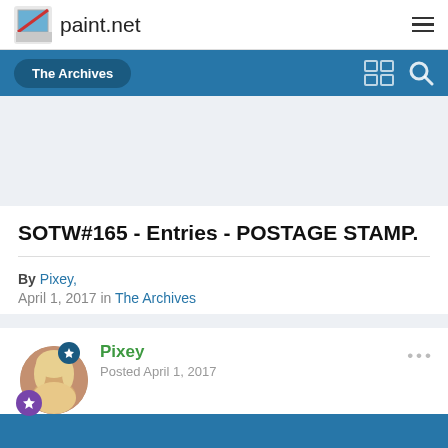paint.net
The Archives
SOTW#165 - Entries - POSTAGE STAMP.
By Pixey,
April 1, 2017 in The Archives
Pixey
Posted April 1, 2017